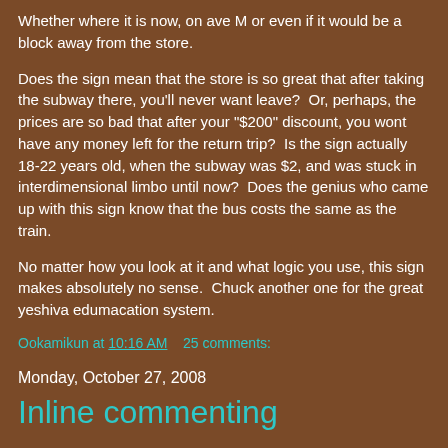Whether where it is now, on ave M or even if it would be a block away from the store.
Does the sign mean that the store is so great that after taking the subway there, you'll never want leave?  Or, perhaps, the prices are so bad that after your "$200" discount, you wont have any money left for the return trip?  Is the sign actually 18-22 years old, when the subway was $2, and was stuck in interdimensional limbo until now?  Does the genius who came up with this sign know that the bus costs the same as the train.
No matter how you look at it and what logic you use, this sign makes absolutely no sense.  Chuck another one for the great yeshiva edumacation system.
Ookamikun at 10:16 AM    25 comments:
Monday, October 27, 2008
Inline commenting